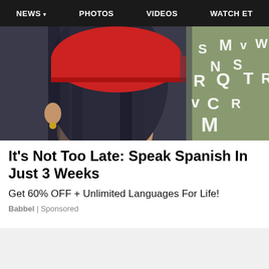NEWS  PHOTOS  VIDEOS  WATCH ET
[Figure (photo): A person with blue/dark hair wearing a red cap, viewed from behind, with scattered alphabet letters on a green background to the right]
It's Not Too Late: Speak Spanish In Just 3 Weeks
Get 60% OFF + Unlimited Languages For Life!
Babbel | Sponsored